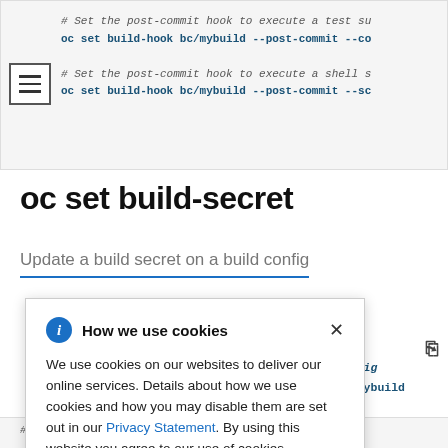[Figure (screenshot): Code block showing oc set build-hook commands with post-commit flags, with hamburger menu icon overlay]
oc set build-secret
Update a build secret on a build config
[Figure (screenshot): Cookie consent modal overlay with info icon, title 'How we use cookies', body text about cookie usage, Privacy Statement link, and close button. Partially visible code block on right showing config and bc/mybuild and mysecret references.]
# Set the push and pull secret on a build confi